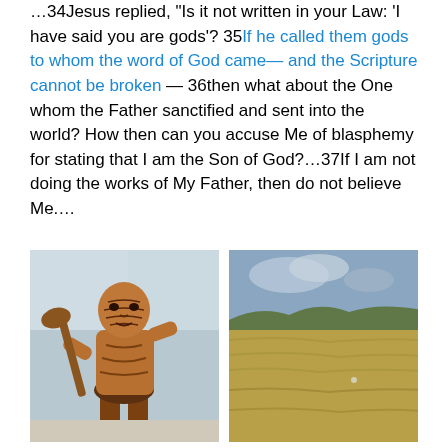...34Jesus replied, "Is it not written in your Law: 'I have said you are gods'? 35If he called them gods to whom the word of God came— and the Scripture cannot be broken — 36then what about the One whom the Father sanctified and sent into the world? How then can you accuse Me of blasphemy for stating that I am the Son of God?...37If I am not doing the works of My Father, then do not believe Me....
[Figure (photo): Carved wooden Maori warrior statue holding a weapon, with traditional facial tattoos (ta moko) and body carvings, displayed indoors]
[Figure (photo): Outdoor landscape photo showing a dry grassy field with low hills and trees in the background under a partly cloudy sky]